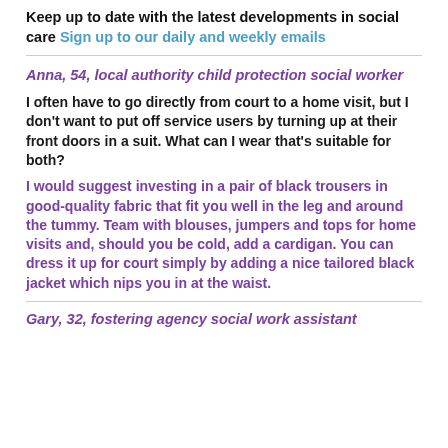Keep up to date with the latest developments in social care Sign up to our daily and weekly emails
Anna, 54, local authority child protection social worker
I often have to go directly from court to a home visit, but I don't want to put off service users by turning up at their front doors in a suit. What can I wear that's suitable for both?
I would suggest investing in a pair of black trousers in good-quality fabric that fit you well in the leg and around the tummy. Team with blouses, jumpers and tops for home visits and, should you be cold, add a cardigan. You can dress it up for court simply by adding a nice tailored black jacket which nips you in at the waist.
Gary, 32, fostering agency social work assistant